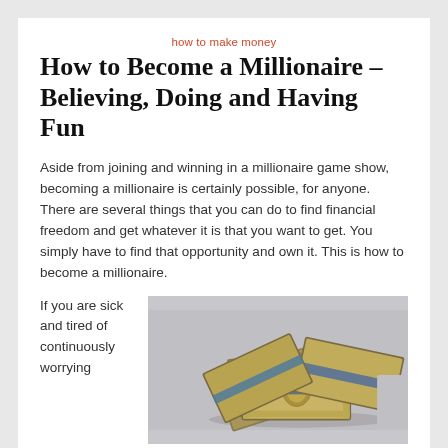how to make money
How to Become a Millionaire – Believing, Doing and Having Fun
Aside from joining and winning in a millionaire game show, becoming a millionaire is certainly possible, for anyone. There are several things that you can do to find financial freedom and get whatever it is that you want to get. You simply have to find that opportunity and own it. This is how to become a millionaire.
If you are sick and tired of continuously worrying
[Figure (photo): Stacks of bundled US dollar bills piled on a light gray background]